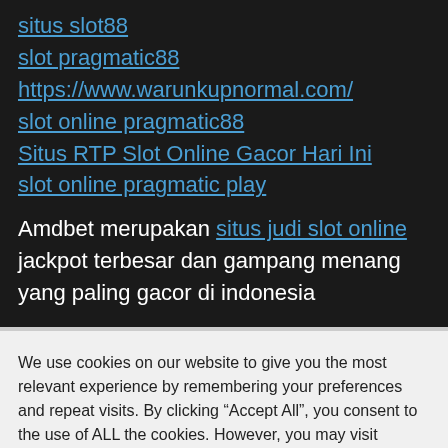situs slot88
slot pragmatic88
https://www.warunkupnormal.com/
slot online pragmatic88
Situs RTP Slot Online Gacor Hari Ini
slot online pragmatic play
Amdbet merupakan situs judi slot online jackpot terbesar dan gampang menang yang paling gacor di indonesia
We use cookies on our website to give you the most relevant experience by remembering your preferences and repeat visits. By clicking “Accept All”, you consent to the use of ALL the cookies. However, you may visit "Cookie Settings" to provide a controlled consent.